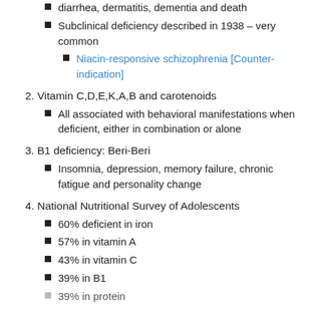diarrhea, dermatitis, dementia and death
Subclinical deficiency described in 1938 – very common
Niacin-responsive schizophrenia [Counter-indication]
2. Vitamin C,D,E,K,A,B and carotenoids
All associated with behavioral manifestations when deficient, either in combination or alone
3. B1 deficiency: Beri-Beri
Insomnia, depression, memory failure, chronic fatigue and personality change
4. National Nutritional Survey of Adolescents
60% deficient in iron
57% in vitamin A
43% in vitamin C
39% in B1
39% in protein